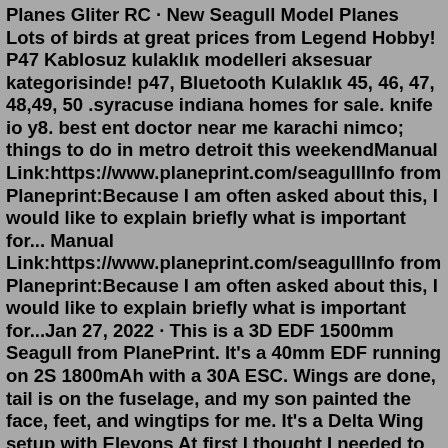Planes Glider RC · New Seagull Model Planes Lots of birds at great prices from Legend Hobby! P47 Kablosuz kulaklık modelleri aksesuar kategorisinde! p47, Bluetooth Kulaklık 45, 46, 47, 48,49, 50 .syracuse indiana homes for sale. knife io y8. best ent doctor near me karachi nimco; things to do in metro detroit this weekendManual Link:https://www.planeprint.com/seagullInfo from Planeprint:Because I am often asked about this, I would like to explain briefly what is important for... Manual Link:https://www.planeprint.com/seagullInfo from Planeprint:Because I am often asked about this, I would like to explain briefly what is important for...Jan 27, 2022 · This is a 3D EDF 1500mm Seagull from PlanePrint. It's a 40mm EDF running on 2S 1800mAh with a 30A ESC. Wings are done, tail is on the fuselage, and my son painted the face, feet, and wingtips for me. It's a Delta Wing setup with Elevons At first I thought I needed to set up the TX Wing Type as Elevons but that didn't work. SEAGULL EDF VERSION. € 44,00 Normale prijs. € 39,00